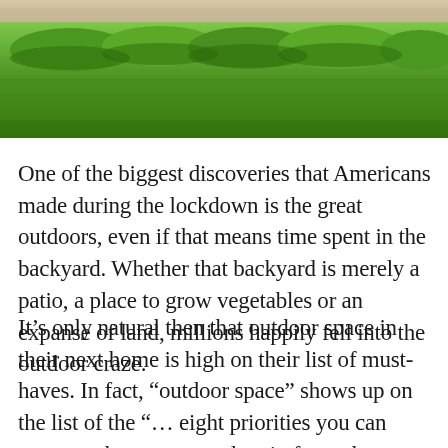[Figure (photo): Aerial or close-up view of a manicured green garden with trimmed hedges and lawn, with a light-colored stone or gravel path visible at the top.]
One of the biggest discoveries that Americans made during the lockdown is the great outdoors, even if that means time spent in the backyard. Whether that backyard is merely a patio, a place to grow vegetables or an expanse of land, millions happily fell into the outdoor craze.
It's only natural then that outdoor space in their next home is high on their list of must-haves. In fact, “outdoor space” shows up on the list of the “… eight priorities you can expect to become prevalent in future home searches,”